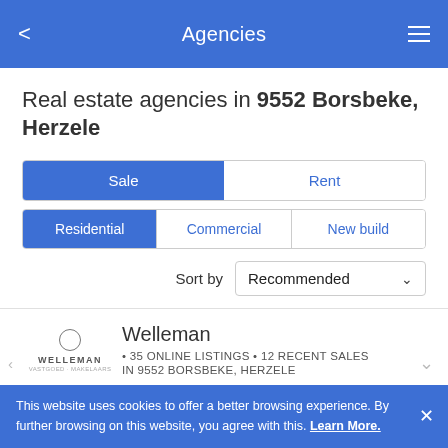Agencies
Real estate agencies in 9552 Borsbeke, Herzele
Sale | Rent
Residential | Commercial | New build
Sort by Recommended
Welleman • 35 ONLINE LISTINGS • 12 RECENT SALES IN 9552 BORSBEKE, HERZELE ★★★★★ 55 reviews
This website uses cookies to offer a better browsing experience. By further browsing on this website, you agree with this. Learn More.